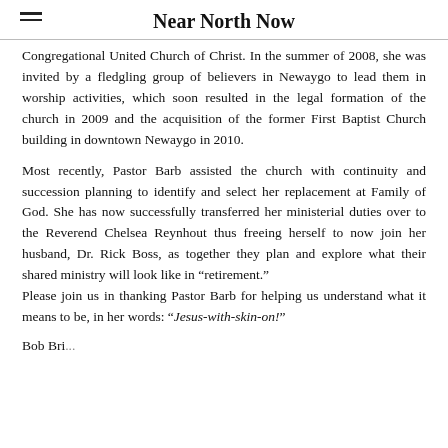Near North Now
Congregational United Church of Christ.  In the summer of 2008, she was invited by a fledgling group of believers in Newaygo to lead them in worship activities, which soon resulted in the legal formation of the church in 2009 and the acquisition of the former First Baptist Church building in downtown Newaygo in 2010.
Most recently, Pastor Barb assisted the church with continuity and succession planning to identify and select her replacement at Family of God.  She has now successfully transferred her ministerial duties over to the Reverend Chelsea Reynhout thus freeing herself to now join her husband, Dr. Rick Boss, as together they plan and explore what their shared ministry will look like in “retirement.” Please join us in thanking Pastor Barb for helping us understand what it means to be, in her words: “Jesus-with-skin-on!”
Bob Bri...